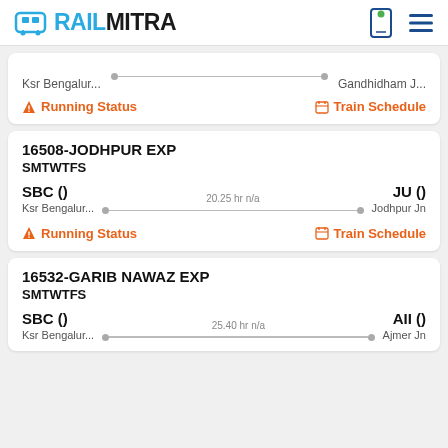RAILMITRA
Ksr Bengalur...   Gandhidham J...
Running Status   Train Schedule
16508-JODHPUR EXP
SMTWTFS
SBC ()   20.25 hr n/a   JU ()
Ksr Bengalur...   Jodhpur Jn
Running Status   Train Schedule
16532-GARIB NAWAZ EXP
SMTWTFS
SBC ()   25.40 hr n/a   AII ()
Ksr Bengalur...   Ajmer Jn